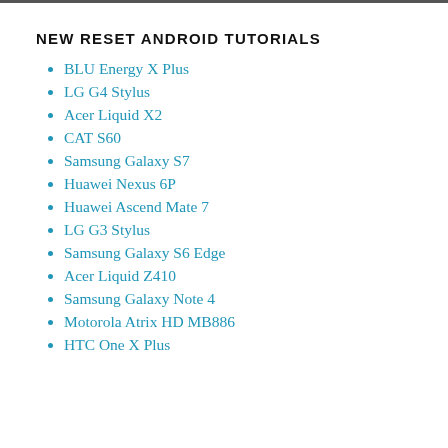NEW RESET ANDROID TUTORIALS
BLU Energy X Plus
LG G4 Stylus
Acer Liquid X2
CAT S60
Samsung Galaxy S7
Huawei Nexus 6P
Huawei Ascend Mate 7
LG G3 Stylus
Samsung Galaxy S6 Edge
Acer Liquid Z410
Samsung Galaxy Note 4
Motorola Atrix HD MB886
HTC One X Plus